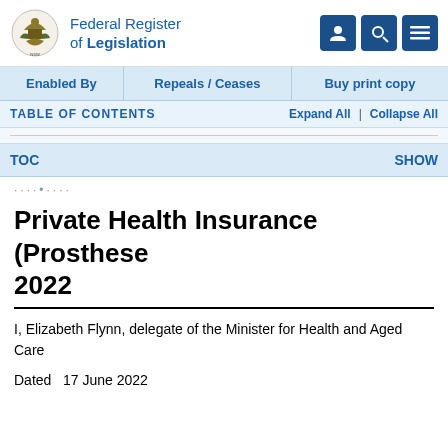Federal Register of Legislation
Enabled By | Repeals / Ceases | Buy print copy
TABLE OF CONTENTS   Expand All | Collapse All
TOC   SHOW
Private Health Insurance (Prosthese... 2022
I, Elizabeth Flynn, delegate of the Minister for Health and Aged Care
Dated   17 June 2022